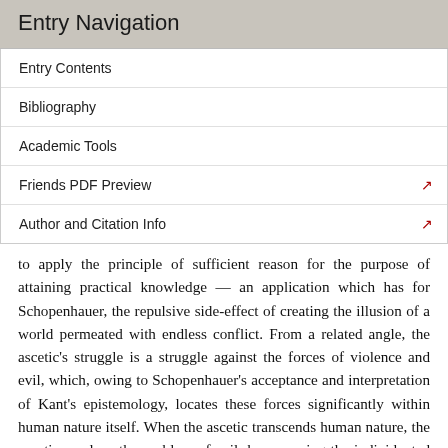Entry Navigation
Entry Contents
Bibliography
Academic Tools
Friends PDF Preview
Author and Citation Info
to apply the principle of sufficient reason for the purpose of attaining practical knowledge — an application which has for Schopenhauer, the repulsive side-effect of creating the illusion of a world permeated with endless conflict. From a related angle, the ascetic's struggle is a struggle against the forces of violence and evil, which, owing to Schopenhauer's acceptance and interpretation of Kant's epistemology, locates these forces significantly within human nature itself. When the ascetic transcends human nature, the ascetic resolves the problem of evil: by removing the individuated and individuating human